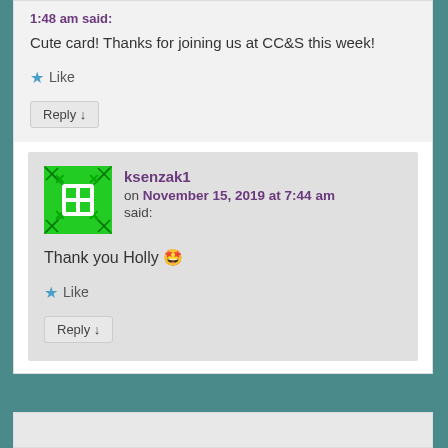1:48 am said:
Cute card! Thanks for joining us at CC&S this week!
Like
Reply ↓
ksenzak1
on November 15, 2019 at 7:44 am said:
Thank you Holly 😊
Like
Reply ↓